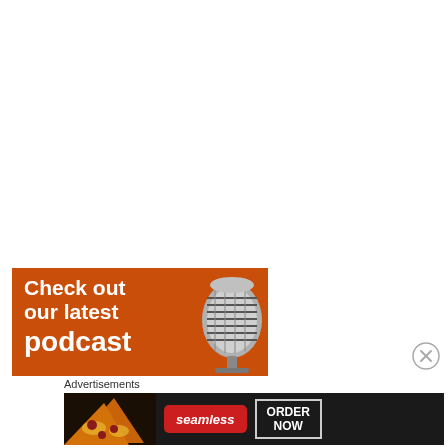[Figure (infographic): Orange podcast advertisement banner with white bold text 'Check out our latest podcast' and a silver vintage microphone image on the right side]
[Figure (other): Close/dismiss button (X in circle) for the podcast ad]
Advertisements
[Figure (infographic): Seamless food delivery advertisement banner showing pizza slices on the left, Seamless logo in red rounded rectangle, and 'ORDER NOW' button with white border on dark background]